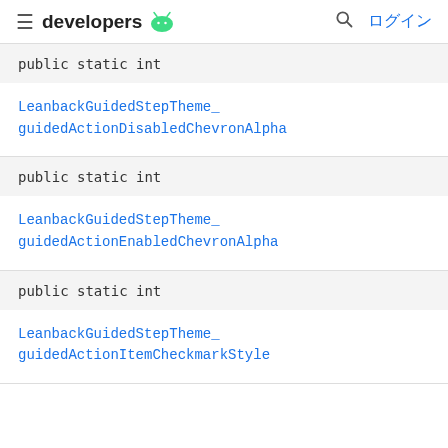developers ログイン
public static int
LeanbackGuidedStepTheme_guidedActionDisabledChevronAlpha
public static int
LeanbackGuidedStepTheme_guidedActionEnabledChevronAlpha
public static int
LeanbackGuidedStepTheme_guidedActionItemCheckmarkStyle